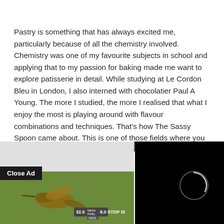Pastry is something that has always excited me, particularly because of all the chemistry involved. Chemistry was one of my favourite subjects in school and applying that to my passion for baking made me want to explore patisserie in detail. While studying at Le Cordon Bleu in London, I also interned with chocolatier Paul A Young. The more I studied, the more I realised that what I enjoy the most is playing around with flavour combinations and techniques. That's how The Sassy Spoon came about. This is one of those fields where you can actually learn so much about yourself.
[Figure (screenshot): Overlapping ad overlay at the bottom of the page: left panel shows a partial image with a hummingbird photo and camera ad text '32.5 CMOS 8.0 STOP IS', right panel is a black video player with a circular loading/play indicator. A 'Close Ad' button appears on the left, and an X close button appears at the top of the right panel.]